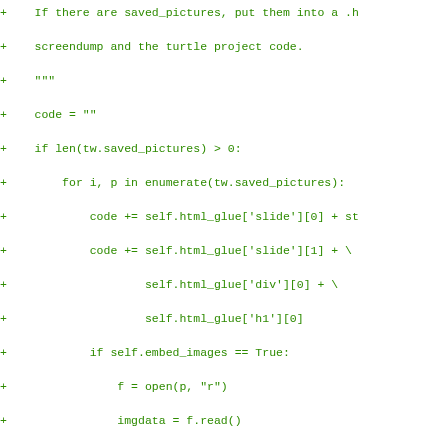[Figure (other): Diff view of Python source code showing added lines (marked with '+') in green monospace font. The code handles saving pictures into HTML output including embedding images as base64 or referencing SVG files.]